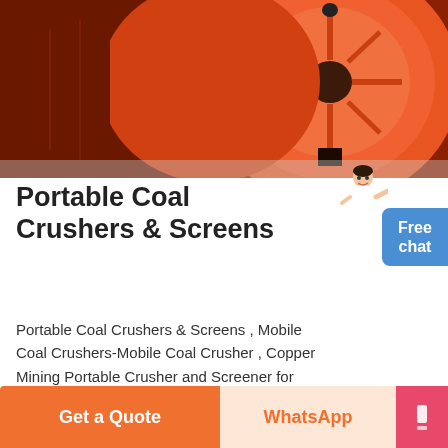[Figure (photo): Close-up photo of an orange/red circular industrial crusher or screen component, showing a large orange disc with ridged patterns, dark red housing and mechanical parts]
Portable Coal Crushers & Screens
[Figure (photo): Small illustration of a customer service person (woman in white) pointing, positioned near a blue Free chat button]
Portable Coal Crushers & Screens , Mobile Coal Crushers-Mobile Coal Crusher , Copper Mining Portable Crusher and Screener for Sale,Mine , » mobile screen.
MORE
[Figure (photo): Partial photo showing an industrial facility interior with steel structures, conveyor or overhead equipment, partially visible]
Get a Quote
WhatsApp